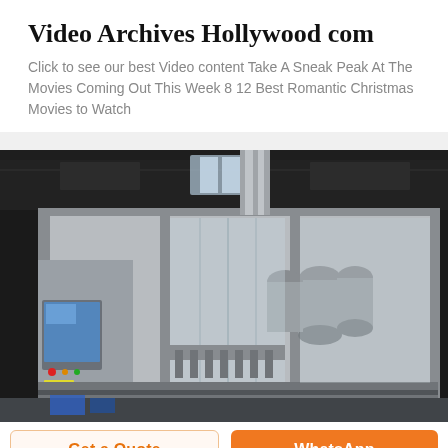Video Archives Hollywood com
Click to see our best Video content Take A Sneak Peak At The Movies Coming Out This Week 8 12 Best Romantic Christmas Movies to Watch
[Figure (photo): Industrial bottling/filling machine in a factory setting, stainless steel equipment with glass enclosures and conveyor systems, dark ceiling with skylights]
Get a Quote
WhatsApp